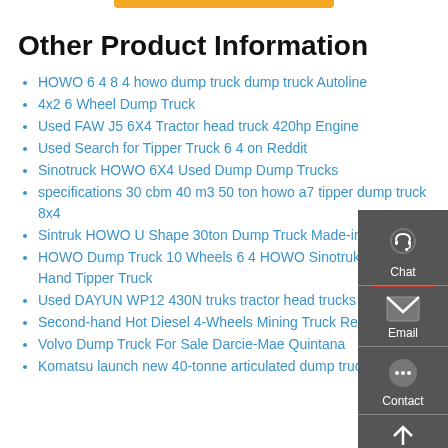Other Product Information
HOWO 6 4 8 4 howo dump truck dump truck Autoline
4x2 6 Wheel Dump Truck
Used FAW J5 6X4 Tractor head truck 420hp Engine
Used Search for Tipper Truck 6 4 on Reddit
Sinotruck HOWO 6X4 Used Dump Dump Trucks
specifications 30 cbm 40 m3 50 ton howo a7 tipper dump truck 8x4
Sintruk HOWO U Shape 30ton Dump Truck Made-in-China
HOWO Dump Truck 10 Wheels 6 4 HOWO Sinotruk Second Hand Tipper Truck
Used DAYUN WP12 430N truks tractor head trucks truck 6x4
Second-hand Hot Diesel 4-Wheels Mining Truck Rear Tipper
Volvo Dump Truck For Sale Darcie-Mae Quintana
Komatsu launch new 40-tonne articulated dump truck